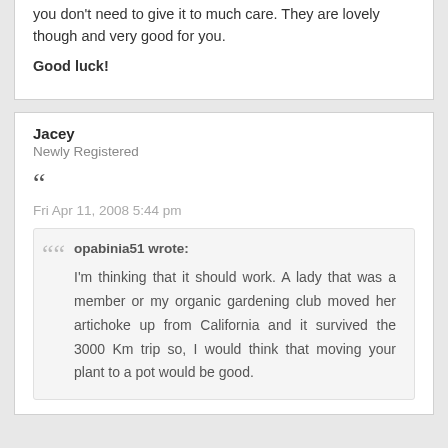you don't need to give it to much care. They are lovely though and very good for you.
Good luck!
Jacey
Newly Registered
Fri Apr 11, 2008 5:44 pm
opabinia51 wrote: I'm thinking that it should work. A lady that was a member or my organic gardening club moved her artichoke up from California and it survived the 3000 Km trip so, I would think that moving your plant to a pot would be good.